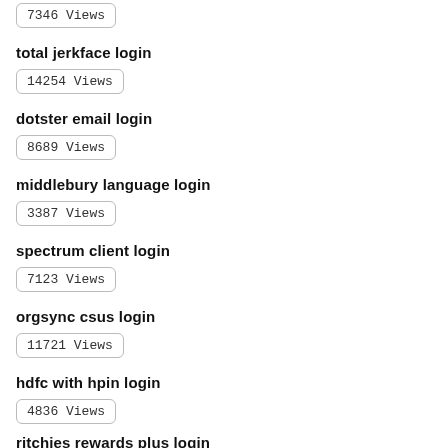7346 Views
total jerkface login
14254 Views
dotster email login
8689 Views
middlebury language login
3387 Views
spectrum client login
7123 Views
orgsync csus login
11721 Views
hdfc with hpin login
4836 Views
ritchies rewards plus login